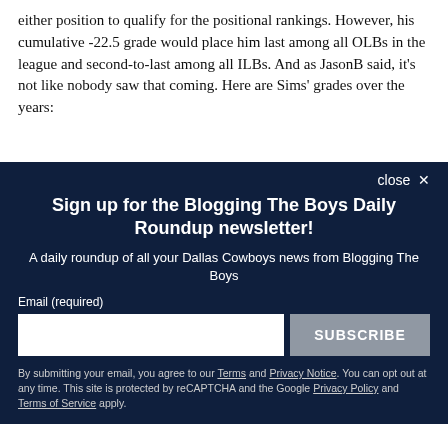either position to qualify for the positional rankings. However, his cumulative -22.5 grade would place him last among all OLBs in the league and second-to-last among all ILBs. And as JasonB said, it's not like nobody saw that coming. Here are Sims' grades over the years:
close ×
Sign up for the Blogging The Boys Daily Roundup newsletter!
A daily roundup of all your Dallas Cowboys news from Blogging The Boys
Email (required)
SUBSCRIBE
By submitting your email, you agree to our Terms and Privacy Notice. You can opt out at any time. This site is protected by reCAPTCHA and the Google Privacy Policy and Terms of Service apply.